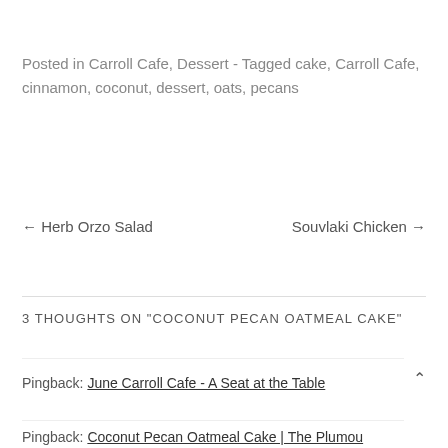Posted in Carroll Cafe, Dessert - Tagged cake, Carroll Cafe, cinnamon, coconut, dessert, oats, pecans
← Herb Orzo Salad    Souvlaki Chicken →
3 thoughts on “Coconut Pecan Oatmeal Cake”
Pingback: June Carroll Cafe - A Seat at the Table
Pingback: Coconut Pecan Oatmeal Cake | The Plum...